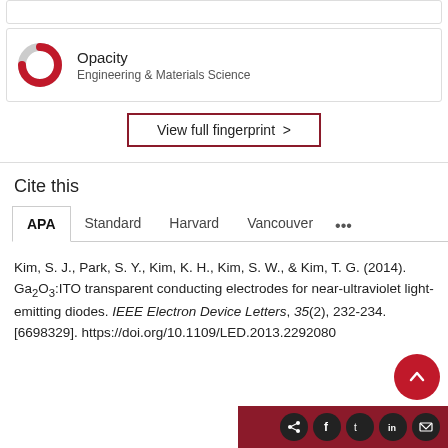[Figure (other): Opacity fingerprint card with donut icon and label 'Engineering & Materials Science']
View full fingerprint >
Cite this
APA  Standard  Harvard  Vancouver  ...
Kim, S. J., Park, S. Y., Kim, K. H., Kim, S. W., & Kim, T. G. (2014). Ga2O3:ITO transparent conducting electrodes for near-ultraviolet light-emitting diodes. IEEE Electron Device Letters, 35(2), 232-234. [6698329]. https://doi.org/10.1109/LED.2013.2292080